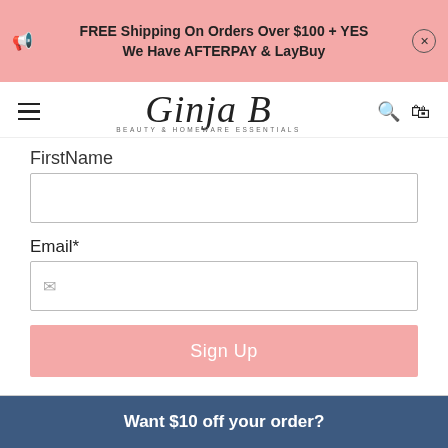FREE Shipping On Orders Over $100 + YES We Have AFTERPAY & LayBuy
[Figure (logo): Ginja B Beauty & Homeware Essentials logo in cursive script]
FirstName
Email*
Sign Up
Want $10 off your order?